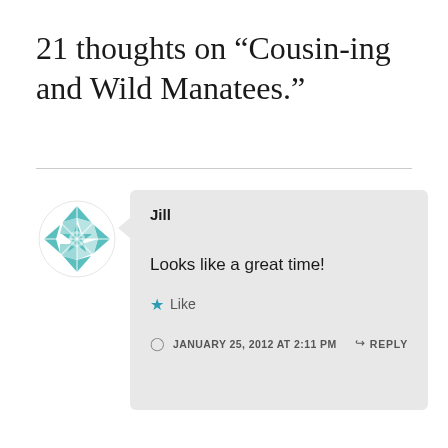21 thoughts on “Cousin-ing and Wild Manatees.”
Jill
Looks like a great time!
Like
JANUARY 25, 2012 AT 2:11 PM
REPLY